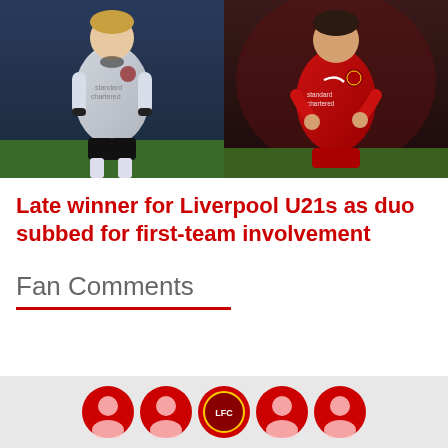[Figure (photo): Two side-by-side photos of Liverpool football players. Left: player in white/grey Liverpool away kit with Standard Chartered sponsor. Right: player in red Liverpool home kit with Standard Chartered sponsor.]
Late winner for Liverpool U21s as duo subbed for first-team involvement
Fan Comments
[Figure (other): Row of circular avatar/profile icons in red and one Liverpool crest circle at the bottom of the page on a grey background.]